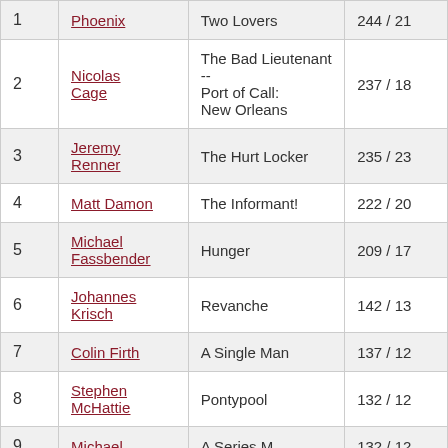| # | Actor | Film | Score |
| --- | --- | --- | --- |
| 1 | Phoenix | Two Lovers | 244 / 21 |
| 2 | Nicolas Cage | The Bad Lieutenant -- Port of Call: New Orleans | 237 / 18 |
| 3 | Jeremy Renner | The Hurt Locker | 235 / 23 |
| 4 | Matt Damon | The Informant! | 222 / 20 |
| 5 | Michael Fassbender | Hunger | 209 / 17 |
| 6 | Johannes Krisch | Revanche | 142 / 13 |
| 7 | Colin Firth | A Single Man | 137 / 12 |
| 8 | Stephen McHattie | Pontypool | 132 / 12 |
| 9 | Michael | A Single Man | 132 / 12 |